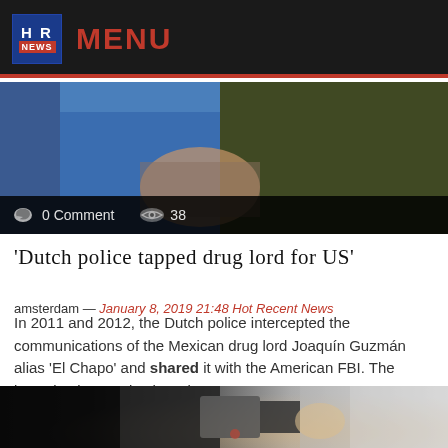HR NEWS | MENU
[Figure (photo): Close-up photo of a person in tactical/military gear, partially visible. Bottom overlay bar shows comment count 0 Comment and view count 38.]
'Dutch police tapped drug lord for US'
amsterdam — January 8, 2019 21:48 Hot Recent News
In 2011 and 2012, the Dutch police intercepted the communications of the Mexican drug lord Joaquín Guzmán alias 'El Chapo' and shared it with the American FBI. The investigative service heard...
[Figure (photo): Dark blurry photo showing what appears to be vehicles on a road, partially visible at the bottom of the page.]